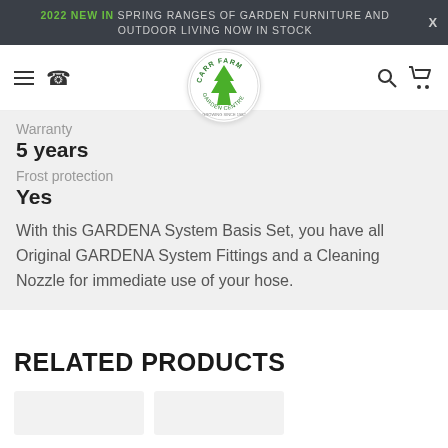2022 NEW IN SPRING RANGES OF GARDEN FURNITURE AND OUTDOOR LIVING NOW IN STOCK
[Figure (logo): Carr Farm Garden Centre logo - circular badge with green tree and text]
Warranty
5 years
Frost protection
Yes
With this GARDENA System Basis Set, you have all Original GARDENA System Fittings and a Cleaning Nozzle for immediate use of your hose.
RELATED PRODUCTS